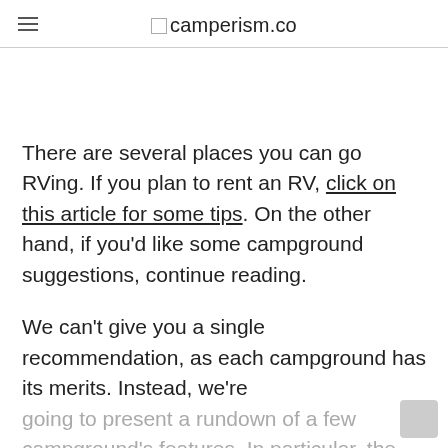camperism.co
There are several places you can go RVing. If you plan to rent an RV, click on this article for some tips. On the other hand, if you'd like some campground suggestions, continue reading.
We can't give you a single recommendation, as each campground has its merits. Instead, we're going to present a rundown of a few campground's features. In particular, the